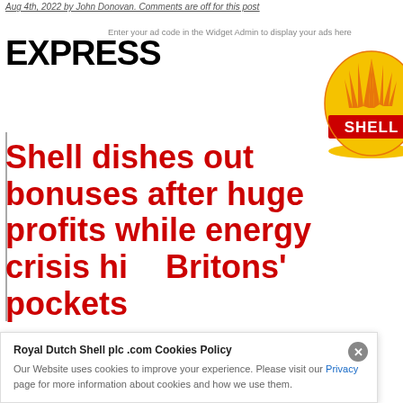Aug 4th, 2022 by John Donovan. Comments are off for this post
Enter your ad code in the Widget Admin to display your ads here
EXPRESS
[Figure (logo): Shell logo — red and yellow shell emblem with SHELL text in white]
Shell dishes out bonuses after huge profits while energy crisis hits Britons' pockets
SHELL is passing on some of its record profits to staff... claimed it was not a response... by... energy prices.
Royal Dutch Shell plc .com Cookies Policy
Our Website uses cookies to improve your experience. Please visit our Privacy page for more information about cookies and how we use them.